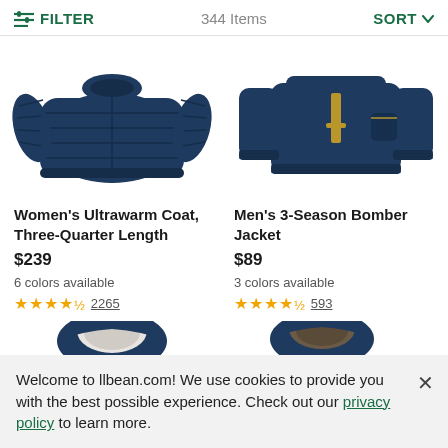FILTER   344 Items   SORT
[Figure (photo): Women's navy puffer coat, three-quarter length, on white background]
[Figure (photo): Men's navy 3-season bomber jacket on white background]
Women's Ultrawarm Coat, Three-Quarter Length
$239
6 colors available
★★★★½ 2265
Men's 3-Season Bomber Jacket
$89
3 colors available
★★★★½ 593
[Figure (photo): Navy hooded sherpa-lined jacket, bottom of image cut off]
[Figure (photo): Navy hooded jacket with fur lining, bottom of image cut off]
Welcome to llbean.com! We use cookies to provide you with the best possible experience. Check out our privacy policy to learn more.